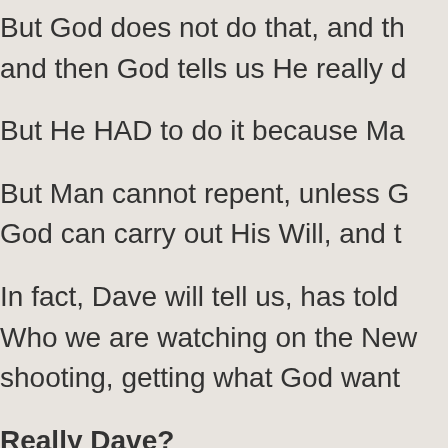But God does not do that, and then God tells us He really d
But He HAD to do it because Ma
But Man cannot repent, unless G God can carry out His Will, and t
In fact, Dave will tell us, has told Who we are watching on the Ne shooting, getting what God want
Really Dave?
You think Ezekiel can save your
I just can't respect someone who giving us the whole thing for once
Fueling insanity:
A handful of verses. Minus conte thinking things through. In short, "everybody" is included in my rep have a voice, as we see here an doing these mass shootings, war shootings, that Man is not free to